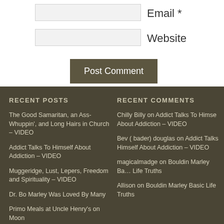Email *
Website
Post Comment
RECENT POSTS
RECENT COMMENTS
The Good Samaritan, an Ass-Whuppin', and Long Hairs in Church – VIDEO
Addict Talks To Himself About Addiction – VIDEO
Muggeridge, Lust, Lepers, Freedom and Spirituality – VIDEO
Dr. Bo Marley Was Loved By Many
Primo Meals at Uncle Henry's on Moon
Chilly Billy on Addict Talks To Himself About Addiction – VIDEO
Bev ( bader) douglas on Addict Talks Himself About Addiction – VIDEO
magicalmadge on Bouldin Marley Basic Life Truths
Allison on Bouldin Marley Basic Life Truths